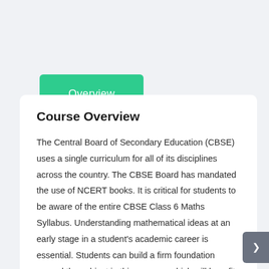Overview
Course Overview
The Central Board of Secondary Education (CBSE) uses a single curriculum for all of its disciplines across the country. The CBSE Board has mandated the use of NCERT books. It is critical for students to be aware of the entire CBSE Class 6 Maths Syllabus. Understanding mathematical ideas at an early stage in a student's academic career is essential. Students can build a firm foundation around the subject in this manner, which will benefit them in higher classes. A